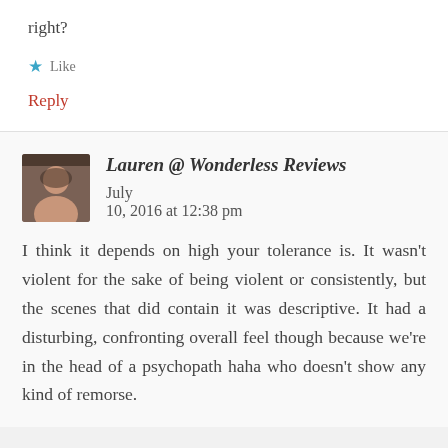right?
★ Like
Reply
Lauren @ Wonderless Reviews   July 10, 2016 at 12:38 pm
I think it depends on high your tolerance is. It wasn't violent for the sake of being violent or consistently, but the scenes that did contain it was descriptive. It had a disturbing, confronting overall feel though because we're in the head of a psychopath haha who doesn't show any kind of remorse.